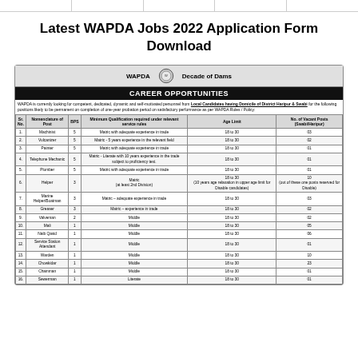Latest WAPDA Jobs 2022 Application Form Download
| Sr. No. | Nomenclature of Post | BPS | Minimum Qualification required under relevant service rules | Age Limit | No. of Vacant Posts (Swabi/Haripur) |
| --- | --- | --- | --- | --- | --- |
| 1. | Machinist | 5 | Matric with adequate experience in trade | 18 to 30 | 03 |
| 2. | Vulcanizer | 5 | Matric - 5 years experience in the relevant field | 18 to 30 | 02 |
| 3. | Painter | 5 | Matric with adequate experience in trade | 18 to 30 | 01 |
| 4. | Telephone Mechanic | 5 | Matric - Literate with 10 years experience in the trade subject to proficiency test | 18 to 30 | 01 |
| 5. | Plumber | 5 | Matric with adequate experience in trade | 18 to 30 | 01 |
| 6. | Helper | 3 | Matric (at least 2nd Division) | 18 to 30 (10 years age relaxation in upper age limit for Disable candidates) | 10 (out of these one posts reserved for Disable) |
| 7. | Marine Helper/Boatman | 3 | Matric – adequate experience in trade | 18 to 30 | 03 |
| 8. | Greaser | 3 | Matric – experience in trade | 18 to 30 | 02 |
| 9. | Valveman | 2 | Middle | 18 to 30 | 02 |
| 10. | Mali | 1 | Middle | 18 to 30 | 05 |
| 11. | Naib Qasid | 1 | Middle | 18 to 30 | 06 |
| 12. | Service Station Attendant | 1 | Middle | 18 to 30 | 01 |
| 13. | Warden | 1 | Middle | 18 to 30 | 10 |
| 14. | Chowkidar | 1 | Middle | 18 to 30 | 23 |
| 15. | Chainman | 1 | Middle | 18 to 30 | 01 |
| 16. | Sewerman | 1 | Literate | 18 to 30 | 01 |